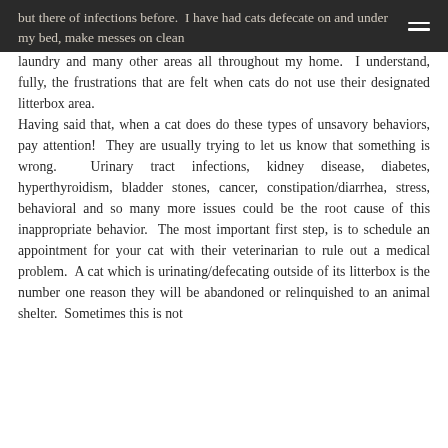but there of infections before.  I have had cats defecate on and under my bed, make messes on clean laundry and many other areas all throughout my home.
laundry and many other areas all throughout my home.  I understand, fully, the frustrations that are felt when cats do not use their designated litterbox area.  Having said that, when a cat does do these types of unsavory behaviors, pay attention!  They are usually trying to let us know that something is wrong.  Urinary tract infections, kidney disease, diabetes, hyperthyroidism, bladder stones, cancer, constipation/diarrhea, stress, behavioral and so many more issues could be the root cause of this inappropriate behavior.  The most important first step, is to schedule an appointment for your cat with their veterinarian to rule out a medical problem.  A cat which is urinating/defecating outside of its litterbox is the number one reason they will be abandoned or relinquished to an animal shelter.  Sometimes this is not